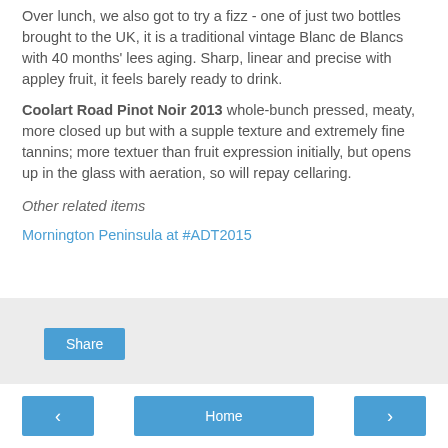Over lunch, we also got to try a fizz - one of just two bottles brought to the UK, it is a traditional vintage Blanc de Blancs with 40 months' lees aging. Sharp, linear and precise with appley fruit, it feels barely ready to drink.
Coolart Road Pinot Noir 2013 whole-bunch pressed, meaty, more closed up but with a supple texture and extremely fine tannins; more textuer than fruit expression initially, but opens up in the glass with aeration, so will repay cellaring.
Other related items
Mornington Peninsula at #ADT2015
[Figure (screenshot): Share button widget area with light grey background and a blue Share button]
[Figure (screenshot): Navigation bar with left arrow button, Home button, and right arrow button, all in blue]